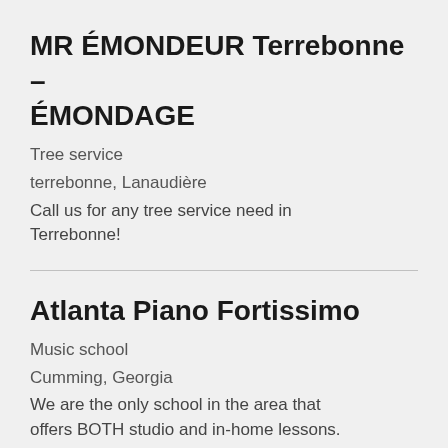MR ÉMONDEUR Terrebonne – ÉMONDAGE
Tree service
terrebonne, Lanaudière
Call us for any tree service need in Terrebonne!
Atlanta Piano Fortissimo
Music school
Cumming, Georgia
We are the only school in the area that offers BOTH studio and in-home lessons.